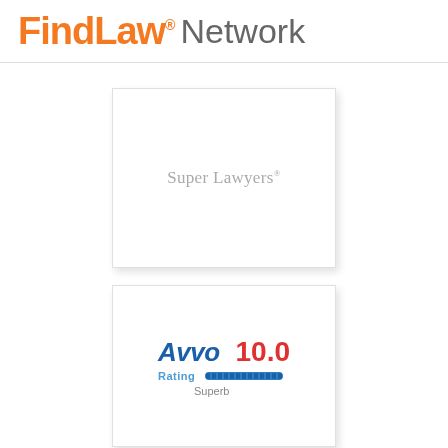FindLaw® Network
[Figure (logo): Super Lawyers badge card — white card with light gray border and drop shadow showing 'Super Lawyers' text in gray serif font]
[Figure (logo): Avvo Rating badge card — white card with light gray border and drop shadow showing Avvo logo in blue bold, rating 10.0 in red, a filled dot bar indicator, and 'Superb' in gray below]